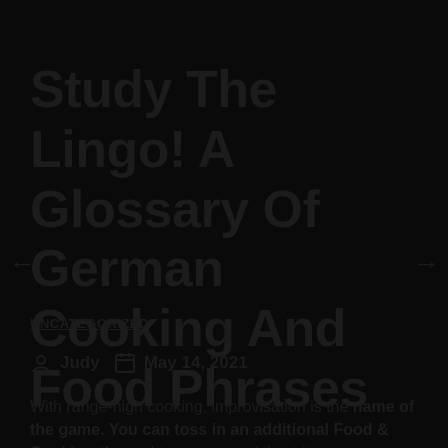Study The Lingo! A Glossary Of German Cooking And Food Phrases
UNCATEGORIZED
Judy  May 14, 2021
With range-high cooking, improvisation is the name of the game. You can toss in an additional Food & Cooking-themed term or two while at it.